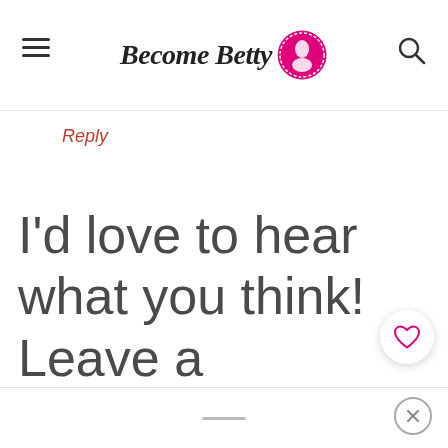Become Betty
Reply
I'd love to hear what you think! Leave a comment below and share your thoughts